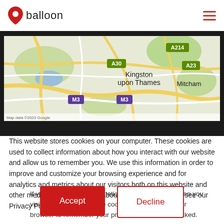balloon
[Figure (map): Google Maps view showing Kingston upon Thames, Mitcham, A30, A214, A23, M3 road labels on a street map]
This website stores cookies on your computer. These cookies are used to collect information about how you interact with our website and allow us to remember you. We use this information in order to improve and customize your browsing experience and for analytics and metrics about our visitors both on this website and other media. To find out more about the cookies we use, see our Privacy Policy.
If you decline, your information won't be tracked when you visit this website. A single cookie will be used in your browser to remember your preference not to be tracked.
Accept   Decline